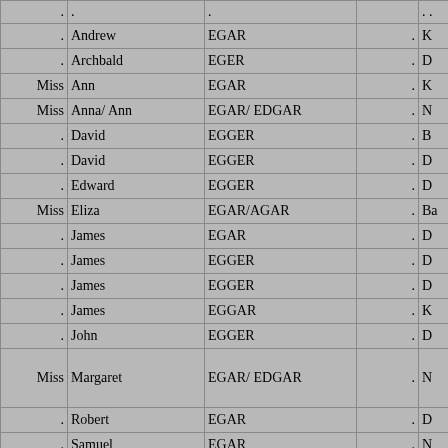|  |  |  |  |  |
| --- | --- | --- | --- | --- |
| . | . | . |  | . . |
| . | Andrew | EGAR | . | K |
| . | Archbald | EGER | . | D |
| Miss | Ann | EGAR | . | K |
| Miss | Anna/ Ann | EGAR/ EDGAR | . | N |
| . | David | EGGER | . | B |
| . | David | EGGER | . | D |
| . | Edward | EGGER | . | D |
| Miss | Eliza | EGAR/AGAR | . | Ba |
| . | James | EGAR | . | D |
| . | James | EGGER | . | D |
| . | James | EGGER | . | D |
| . | James | EGGAR | . | K |
| . | John | EGGER | . | D |
| Miss | Margaret | EGAR/ EDGAR | . | N |
| . | Robert | EGAR | . | D |
| . | Samuel | EGAR | . | N |
|  |  |  |  |  |